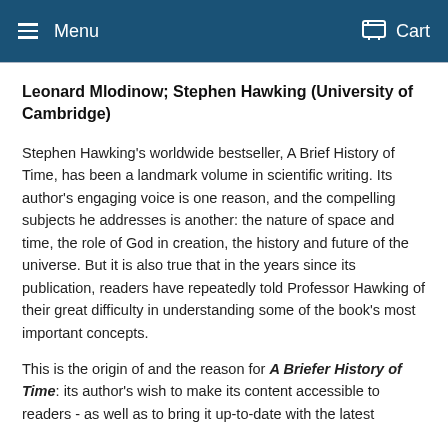Menu  Cart
Leonard Mlodinow; Stephen Hawking (University of Cambridge)
Stephen Hawking's worldwide bestseller, A Brief History of Time, has been a landmark volume in scientific writing. Its author's engaging voice is one reason, and the compelling subjects he addresses is another: the nature of space and time, the role of God in creation, the history and future of the universe. But it is also true that in the years since its publication, readers have repeatedly told Professor Hawking of their great difficulty in understanding some of the book's most important concepts.
This is the origin of and the reason for A Briefer History of Time: its author's wish to make its content accessible to readers - as well as to bring it up-to-date with the latest